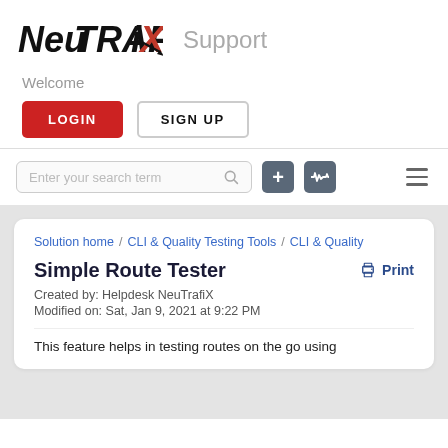[Figure (logo): NeuTRAFiX logo in bold italic black and red text, with 'X' in red]
Support
Welcome
LOGIN   SIGN UP
[Figure (screenshot): Search bar with placeholder 'Enter your search term', plus icon buttons and hamburger menu]
Solution home / CLI & Quality Testing Tools / CLI & Quality
Simple Route Tester
Created by: Helpdesk NeuTrafiX
Modified on: Sat, Jan 9, 2021 at 9:22 PM
This feature helps in testing routes on the go using